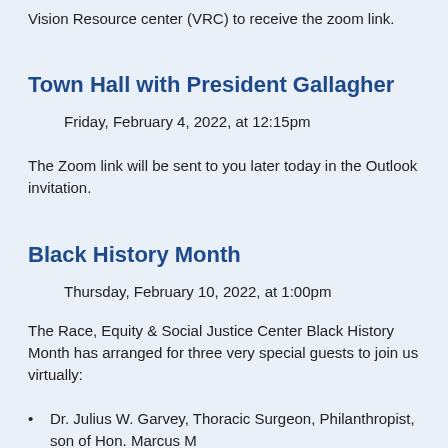Vision Resource center (VRC) to receive the zoom link.
Town Hall with President Gallagher
Friday, February 4, 2022, at 12:15pm
The Zoom link will be sent to you later today in the Outlook invitation.
Black History Month
Thursday, February 10, 2022, at 1:00pm
The Race, Equity & Social Justice Center Black History Month has arranged for three very special guests to join us virtually:
Dr. Julius W. Garvey, Thoracic Surgeon, Philanthropist, son of Hon. Marcus M